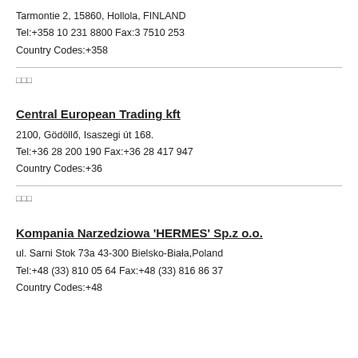Tarmontie 2, 15860, Hollola, FINLAND
Tel:+358 10 231 8800 Fax:3 7510 253
Country Codes:+358
□□□
Central European Trading kft
2100, Gödöllő, Isaszegi út 168.
Tel:+36 28 200 190 Fax:+36 28 417 947
Country Codes:+36
□□□
Kompania Narzedziowa 'HERMES' Sp.z o.o.
ul. Sarni Stok 73a 43-300 Bielsko-Biała,Poland
Tel:+48 (33) 810 05 64 Fax:+48 (33) 816 86 37
Country Codes:+48